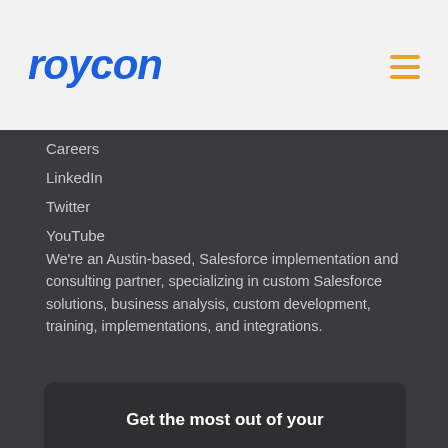roycon
Careers
LinkedIn
Twitter
YouTube
We're an Austin-based, Salesforce implementation and consulting partner, specializing in custom Salesforce solutions, business analysis, custom development, training, implementations, and integrations.
Get the most out of your